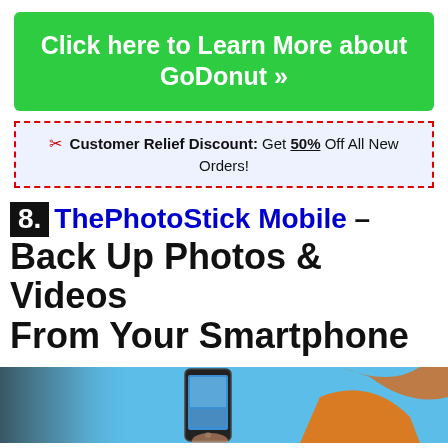Click here to Learn More about GoDonut »
✂ Customer Relief Discount: Get 50% Off All New Orders!
8. ThePhotoStick Mobile – Back Up Photos & Videos From Your Smartphone
[Figure (photo): Photo of a Samsung smartphone held against a blue background with orange element, showing ThePhotoStick Mobile product]